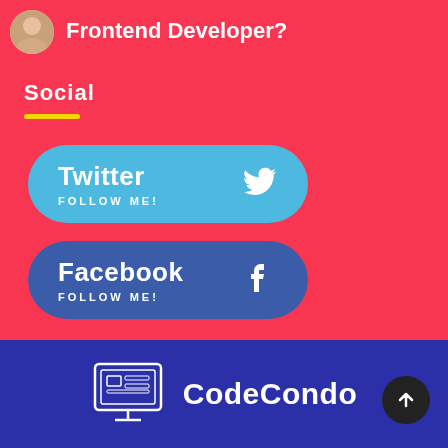Frontend Developer?
Social
Twitter FOLLOW ME!
Facebook FOLLOW ME!
[Figure (logo): CodeCondo logo: monitor icon with circuit board design and text CodeCondo]
CodeCondo